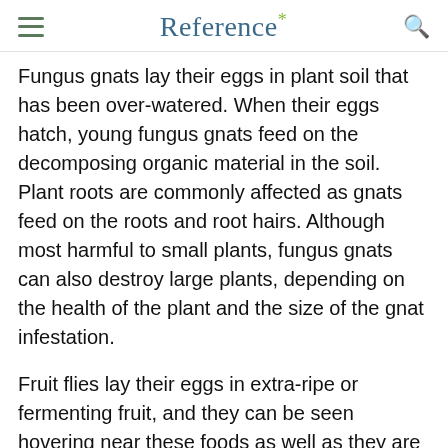Reference*
Fungus gnats lay their eggs in plant soil that has been over-watered. When their eggs hatch, young fungus gnats feed on the decomposing organic material in the soil. Plant roots are commonly affected as gnats feed on the roots and root hairs. Although most harmful to small plants, fungus gnats can also destroy large plants, depending on the health of the plant and the size of the gnat infestation.
Fruit flies lay their eggs in extra-ripe or fermenting fruit, and they can be seen hovering near these foods as well as they are attracted to their scent and moisture. When the eggs hatch, the larvae eat the